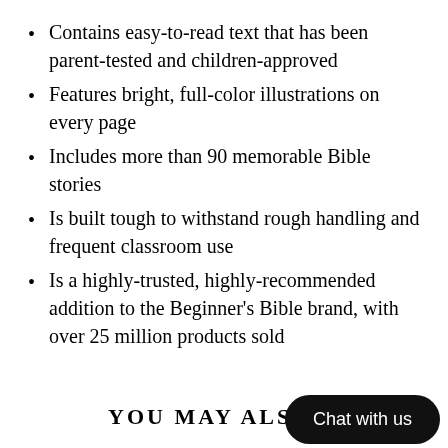Contains easy-to-read text that has been parent-tested and children-approved
Features bright, full-color illustrations on every page
Includes more than 90 memorable Bible stories
Is built tough to withstand rough handling and frequent classroom use
Is a highly-trusted, highly-recommended addition to the Beginner's Bible brand, with over 25 million products sold
YOU MAY ALSO
Chat with us